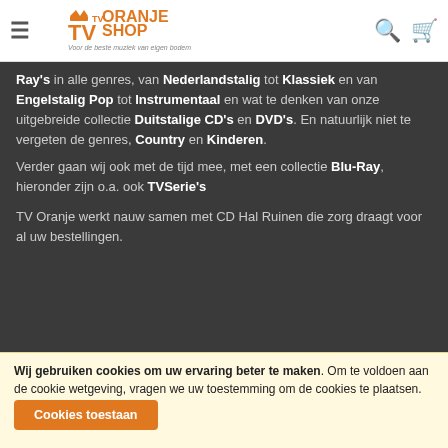TV Oranje Shop - Voor de beste muziek van eigen bodem
Ray's in alle genres, van Nederlandstalig tot Klassiek en van Engelstalig Pop tot Instrumentaal en wat te denken van onze uitgebreide collectie Duitstalige CD's en DVD's. En natuurlijk niet te vergeten de genres, Country en Kinderen.
Verder gaan wij ook met de tijd mee, met een collectie Blu-Ray, hieronder zijn o.a. ook TVSerie's

TV Oranje werkt nauw samen met CD Hal Ruinen die zorg draagt voor al uw bestellingen.
[Figure (logo): Payment logos: PostNL, iDEAL, PayPal, VISA, Mastercard, Bancontact Mister Cash]
Wij gebruiken cookies om uw ervaring beter te maken. Om te voldoen aan de cookie wetgeving, vragen we uw toestemming om de cookies te plaatsen. Meer informatie.
Cookies toestaan